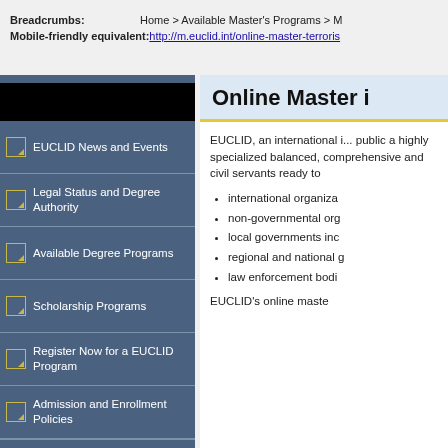Breadcrumbs:   Home > Available Master's Programs > M
Mobile-friendly equivalent:   http://m.euclid.int/online-master-terroris
EUCLID News and Events
Legal Status and Degree Authority
Available Degree Programs
Scholarship Programs
Register Now for a EUCLID Program
Admission and Enrollment Policies
Online Master i
EUCLID, an international i... public a highly specialized balanced, comprehensive and civil servants ready to
international organiza
non-governmental org
local governments inc
regional and national g
law enforcement bodi
EUCLID's online maste